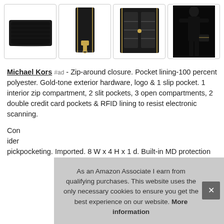[Figure (photo): Four product images of a Michael Kors black wallet: front view, zipper side view, open interior view, and model holding wallet]
Michael Kors #ad - Zip-around closure. Pocket lining-100 percent polyester. Gold-tone exterior hardware, logo & 1 slip pocket. 1 interior zip compartment, 2 slit pockets, 3 open compartments, 2 double credit card pockets & RFID lining to resist electronic scanning.
As an Amazon Associate I earn from qualifying purchases. This website uses the only necessary cookies to ensure you get the best experience on our website. More information
Con... ider... pickpocketing. Imported. 8 W x 4 H x 1 d. Built-in MD protection